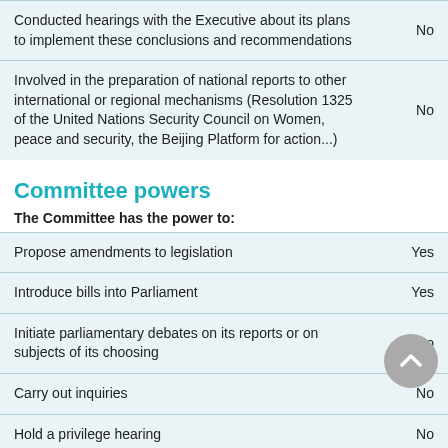| Activity | Response |
| --- | --- |
| Conducted hearings with the Executive about its plans to implement these conclusions and recommendations | No |
| Involved in the preparation of national reports to other international or regional mechanisms (Resolution 1325 of the United Nations Security Council on Women, peace and security, the Beijing Platform for action...) | No |
Committee powers
The Committee has the power to:
| Power | Response |
| --- | --- |
| Propose amendments to legislation | Yes |
| Introduce bills into Parliament | Yes |
| Initiate parliamentary debates on its reports or on subjects of its choosing | No |
| Carry out inquiries | No |
| Hold a privilege hearing | No |